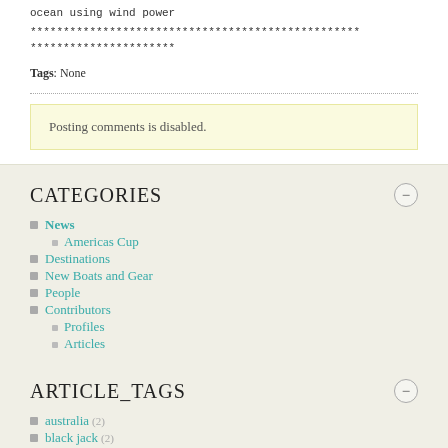ocean using wind power
**************************************************
**********************
Tags: None
Posting comments is disabled.
CATEGORIES
News
Americas Cup
Destinations
New Boats and Gear
People
Contributors
Profiles
Articles
ARTICLE_TAGS
australia (2)
black jack (2)
coffs (2)
Cruising/Destinations (20)